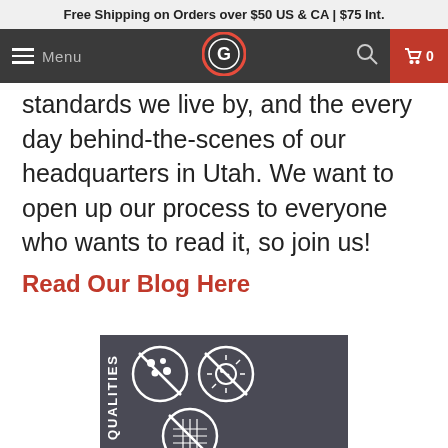Free Shipping on Orders over $50 US & CA | $75 Int.
standards we live by, and the every day behind-the-scenes of our headquarters in Utah. We want to open up our process to everyone who wants to read it, so join us!
Read Our Blog Here
[Figure (infographic): Dark grey panel with QUALITIES label rotated vertically on the left side, and circular icons showing no-pilling, anti-microbial, and mesh/breathable fabric properties on white circles with diagonal slash marks.]